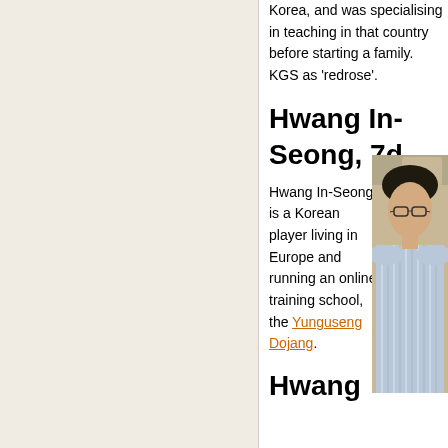Korea, and was specialising in teaching in that country before starting a family. KGS as 'redrose'.
Hwang In-Seong, 7d
[Figure (photo): Photo of Hwang In-Seong, a Korean man wearing glasses and a striped shirt]
Hwang In-Seong is a Korean player living in Europe and running an online training school, the Yunguseng Dojang.
Hwang